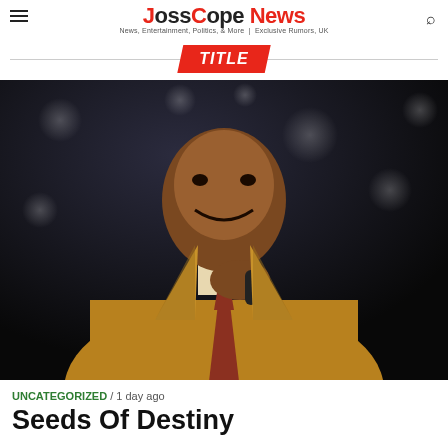JossCopeNews
TITLE
[Figure (photo): A man in a tan/camel suit with a patterned tie, holding a microphone close to his face and smiling, photographed against a dark background with bokeh light dots]
UNCATEGORIZED / 1 day ago
Seeds Of Destiny